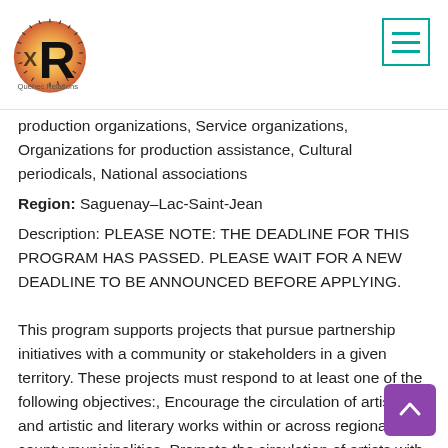Quebec Relations logo and navigation menu
production organizations, Service organizations, Organizations for production assistance, Cultural periodicals, National associations
Region: Saguenay–Lac-Saint-Jean
Description: PLEASE NOTE: THE DEADLINE FOR THIS PROGRAM HAS PASSED. PLEASE WAIT FOR A NEW DEADLINE TO BE ANNOUNCED BEFORE APPLYING.

This program supports projects that pursue partnership initiatives with a community or stakeholders in a given territory. These projects must respond to at least one of the following objectives:, Encourage the circulation of artists and artistic and literary works within or across regional county municipalities, Promote the circulation of artists with regards to creation or resourcing projects, Encourage residencies for creation with organizations